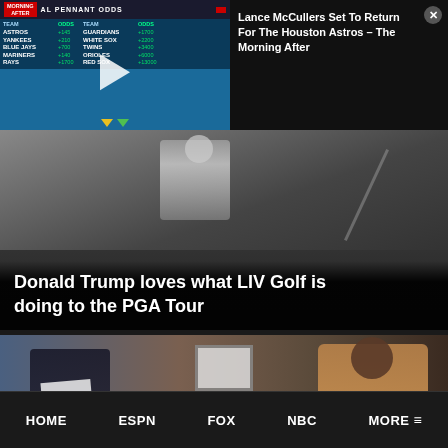[Figure (screenshot): Video thumbnail showing MLB AL Pennant Odds table with teams and odds: ASTROS +145, YANKEES +210, BLUE JAYS +700, MARINERS +140, RAYS +1700 / GUARDIANS +1700, WHITE SOX +2200, TWINS +3400, ORIOLES +6000, RED SOX +13000. Play button overlay visible. Morning After branding in corner.]
Lance McCullers Set To Return For The Houston Astros – The Morning After
[Figure (photo): Golfer in white shirt from behind, holding club. Dark gradient overlay at bottom.]
Donald Trump loves what LIV Golf is doing to the PGA Tour
[Figure (screenshot): TV studio scene with two hosts. One host covers face with papers, cityscape visible in background. Other host in tan sweater seated on right. Framed artwork on brick wall in center.]
HOME   ESPN   FOX   NBC   MORE ≡